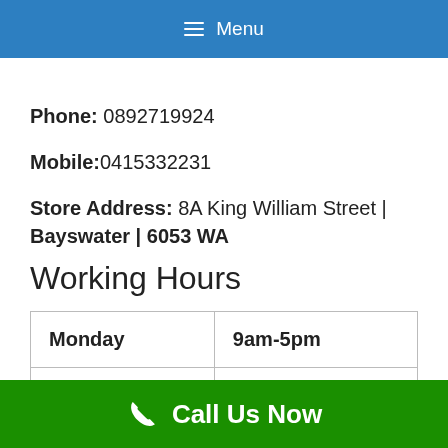Menu
Phone: 0892719924
Mobile:0415332231
Store Address: 8A King William Street | Bayswater | 6053 WA
Working Hours
| Day | Hours |
| --- | --- |
| Monday | 9am-5pm |
| Tuesday | 9am-5pm |
Call Us Now